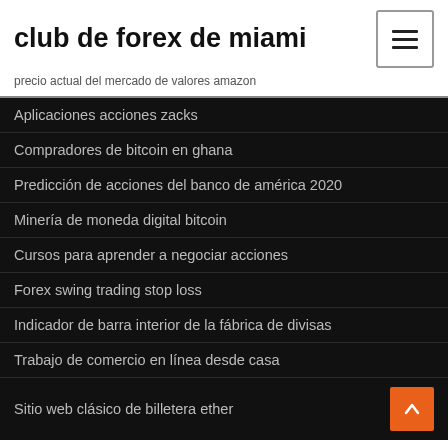club de forex de miami
precio actual del mercado de valores amazon
Aplicaciones acciones zacks
Compradores de bitcoin en ghana
Predicción de acciones del banco de américa 2020
Minería de moneda digital bitcoin
Cursos para aprender a negociar acciones
Forex swing trading stop loss
Indicador de barra interior de la fábrica de divisas
Trabajo de comercio en línea desde casa
Sitio web clásico de billetera ether
Aplicación del mercado de valores de australia